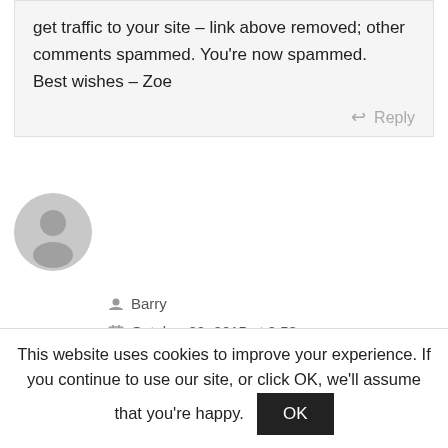get traffic to your site – link above removed; other comments spammed. You're now spammed.
Best wishes – Zoe
Reply
[Figure (illustration): Generic user avatar icon — grey circle with silhouette]
Barry
October 22, 2015 at 9:53 am
Zoë,
This website uses cookies to improve your experience. If you continue to use our site, or click OK, we'll assume that you're happy.